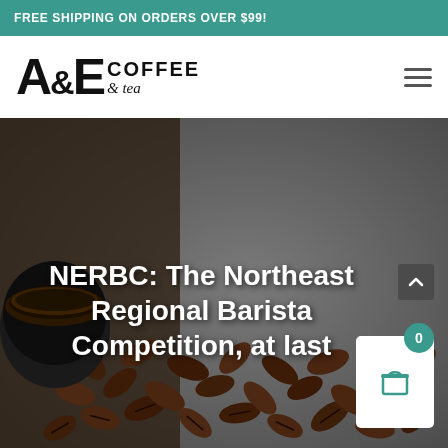FREE SHIPPING ON ORDERS OVER $99!
[Figure (logo): A&E Coffee & tea logo in bold black text]
[Figure (photo): Hero image of coffee beans and espresso cup on grey background with overlaid title text: NERBC: The Northeast Regional Barista Competition, at last]
NERBC: The Northeast Regional Barista Competition, at last